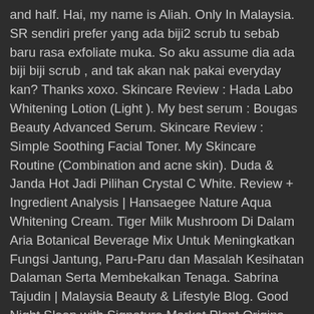and half. Hai, my name is Aliah. Only In Malaysia. SR sendiri prefer yang ada biji2 scrub tu sebab baru rasa exfoliate muka. So aku assume dia ada biji biji scrub , and tak akan nak pakai everyday kan? Thanks xoxo. Skincare Review : Hada Labo Whitening Lotion (Light ). My best serum : Bougas Beauty Advanced Serum. Skincare Review : Simple Soothing Facial Toner. My Skincare Routine (Combination and acne skin). Duda & Janda Hot Jadi Pilihan Crystal C White. Review + Ingredient Analysis | Hansaegee Nature Aqua Whitening Cream. Tiger Milk Mushroom Di Dalam Aria Botanical Beverage Mix Untuk Meningkatkan Fungsi Jantung, Paru-Paru dan Masalah Kesihatan Dalaman Serta Membekalkan Tenaga. Sabrina Tajudin | Malaysia Beauty & Lifestyle Blog. Good Night Sleep with Signature Market Plant Origins aromatherapy range. Hada Labo Hada Labo Aha/bha Oil Control Face Wash 130g. Want to know more about Hada Labo AHA/BHA Face Wash - Oil Control? Free of fragrances, mineral oil, alcohol & colorant. My review Aku pakai dalam dua minggu, tapi